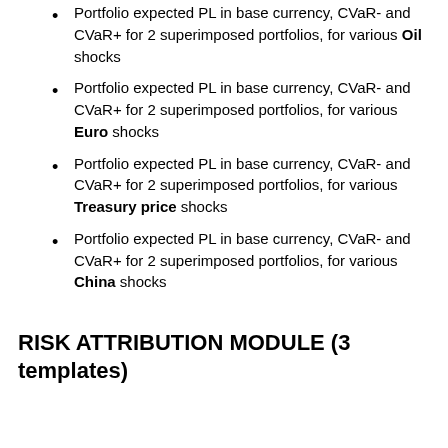Portfolio expected PL in base currency, CVaR- and CVaR+ for 2 superimposed portfolios, for various Oil shocks
Portfolio expected PL in base currency, CVaR- and CVaR+ for 2 superimposed portfolios, for various Euro shocks
Portfolio expected PL in base currency, CVaR- and CVaR+ for 2 superimposed portfolios, for various Treasury price shocks
Portfolio expected PL in base currency, CVaR- and CVaR+ for 2 superimposed portfolios, for various China shocks
RISK ATTRIBUTION MODULE (3 templates)